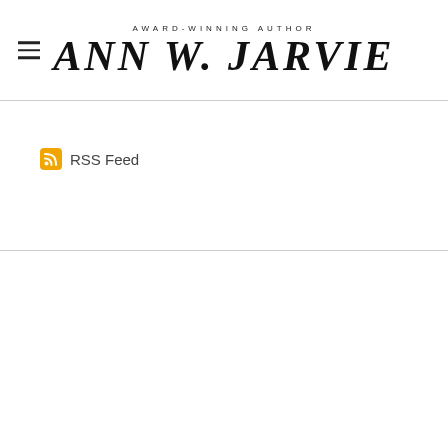AWARD-WINNING AUTHOR ANN W. JARVIE
RSS Feed